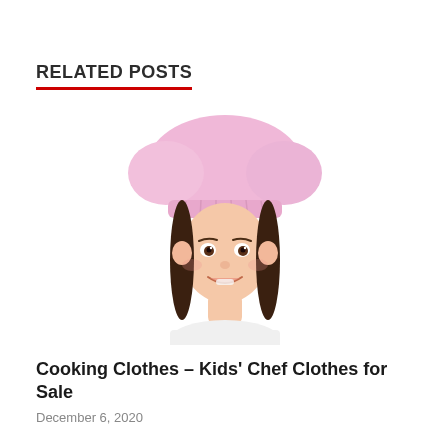RELATED POSTS
[Figure (photo): A smiling young girl wearing a large pink chef's hat and white chef's jacket, photographed against a white background. Her dark hair falls on either side of her face.]
Cooking Clothes – Kids' Chef Clothes for Sale
December 6, 2020